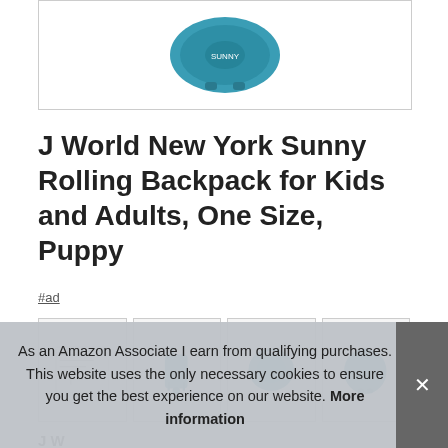[Figure (photo): Product image of J World New York Sunny Rolling Backpack in teal/blue color, shown from above, inside a white bordered box]
J World New York Sunny Rolling Backpack for Kids and Adults, One Size, Puppy
#ad
[Figure (photo): Row of four product thumbnail images showing different views of the rolling backpack in teal color]
J W
As an Amazon Associate I earn from qualifying purchases. This website uses the only necessary cookies to ensure you get the best experience on our website. More information